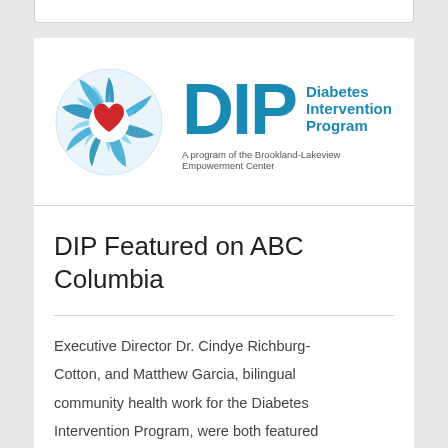[Figure (logo): DIP - Diabetes Intervention Program logo. A circular emblem with blue swirl/leaf shapes and a red heart in the center, next to large blue 'DIP' letters and the words 'Diabetes Intervention Program'. Subtitle: 'A program of the Brookland-Lakeview Empowerment Center'.]
DIP Featured on ABC Columbia
Executive Director Dr. Cindye Richburg-Cotton, and Matthew Garcia, bilingual community health work for the Diabetes Intervention Program, were both featured